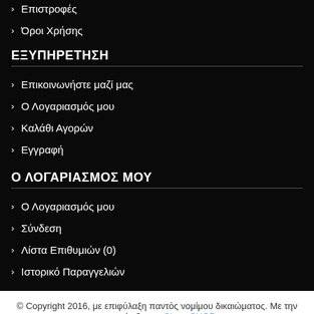> Επιστροφές
> Όροι Χρήσης
ΕΞΥΠΗΡΕΤΗΣΗ
> Επικοινωνήστε μαζί μας
> Ο Λογαριασμός μου
> Καλάθι Αγορών
> Εγγραφή
Ο ΛΟΓΑΡΙΑΣΜΟΣ ΜΟΥ
> Ο Λογαριασμός μου
> Σύνδεση
> Λίστα Επιθυμιών (0)
> Ιστορικό Παραγγελιών
© Copyright 2016, με επιφύλαξη παντός νομίμου δικαιώματος. Με την υποστήριξη του SigmaSHOP